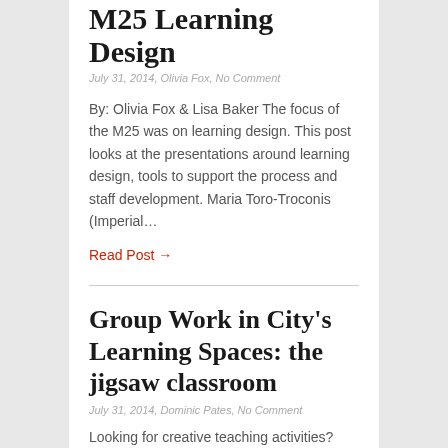M25 Learning Design
July 31, 2014, Olivia Fox, No Comment
By: Olivia Fox & Lisa Baker The focus of the M25 was on learning design. This post looks at the presentations around learning design, tools to support the process and staff development. Maria Toro-Troconis (Imperial…
Read Post →
Group Work in City's Learning Spaces: the jigsaw classroom
July 31, 2014, Dominic Pates, No Comment
Looking for creative teaching activities?